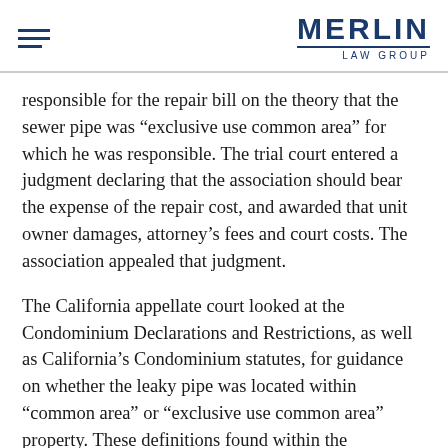MERLIN LAW GROUP
responsible for the repair bill on the theory that the sewer pipe was “exclusive use common area” for which he was responsible. The trial court entered a judgment declaring that the association should bear the expense of the repair cost, and awarded that unit owner damages, attorney’s fees and court costs. The association appealed that judgment.
The California appellate court looked at the Condominium Declarations and Restrictions, as well as California’s Condominium statutes, for guidance on whether the leaky pipe was located within “common area” or “exclusive use common area” property. These definitions found within the Declarations and state statutes would determine